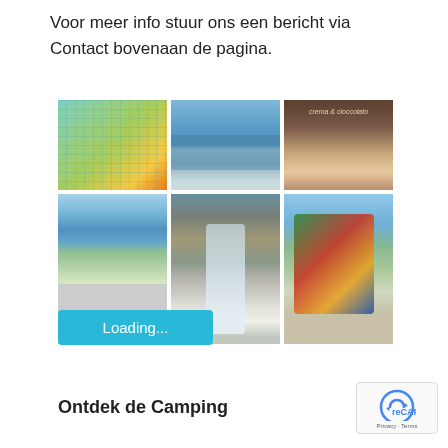Voor meer info stuur ons een bericht via Contact bovenaan de pagina.
[Figure (photo): Grid of 6 photos: campsite map, mountain lake with dock, cafe interior, swimming pool, waterfall, playground with slides]
Loading...
Ontdek de Camping
[Figure (other): reCAPTCHA badge with Privacy - Terms text]